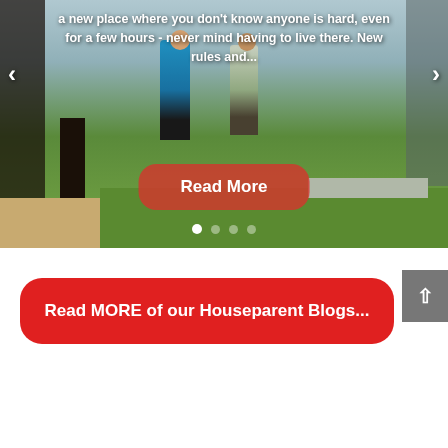[Figure (screenshot): Website screenshot showing a photo carousel/slider with children standing outdoors on grass. Navigation arrows on left and right. Overlay text reads: 'a new place where you don't know anyone is hard, even for a few hours - never mind having to live there. New rules and...' with a red 'Read More' button and carousel dot indicators at the bottom.]
Read MORE of our Houseparent Blogs...